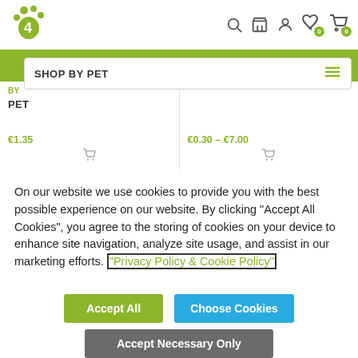[Figure (logo): Paw print logo with number 4, green color, pet shop brand]
[Figure (infographic): Header icons: search, store, user, heart with 0, cart with 0]
SHOP BY PET
BY PET
€1.35
€0.30 – €7.00
On our website we use cookies to provide you with the best possible experience on our website. By clicking "Accept All Cookies", you agree to the storing of cookies on your device to enhance site navigation, analyze site usage, and assist in our marketing efforts. "Privacy Policy & Cookie Policy"
Accept All
Choose Cookies
Accept Necessary Only